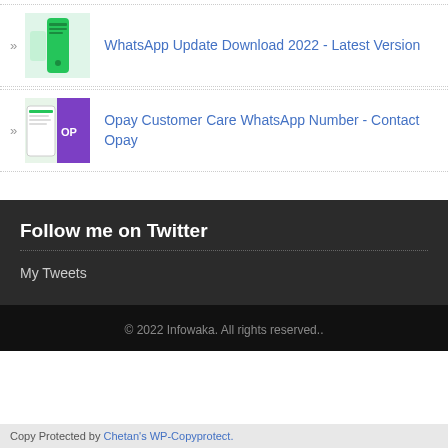WhatsApp Update Download 2022 - Latest Version
Opay Customer Care WhatsApp Number - Contact Opay
Follow me on Twitter
My Tweets
© 2022 Infowaka. All rights reserved..
Copy Protected by Chetan's WP-Copyprotect.